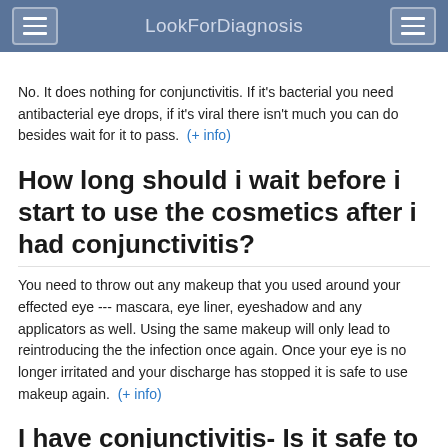LookForDiagnosis
No. It does nothing for conjunctivitis. If it's bacterial you need antibacterial eye drops, if it's viral there isn't much you can do besides wait for it to pass.  (+ info)
How long should i wait before i start to use the cosmetics after i had conjunctivitis?
You need to throw out any makeup that you used around your effected eye --- mascara, eye liner, eyeshadow and any applicators as well. Using the same makeup will only lead to reintroducing the the infection once again. Once your eye is no longer irritated and your discharge has stopped it is safe to use makeup again.  (+ info)
I have conjunctivitis- Is it safe to wear